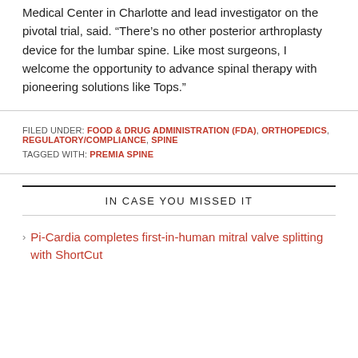Medical Center in Charlotte and lead investigator on the pivotal trial, said. “There’s no other posterior arthroplasty device for the lumbar spine. Like most surgeons, I welcome the opportunity to advance spinal therapy with pioneering solutions like Tops.”
FILED UNDER: FOOD & DRUG ADMINISTRATION (FDA), ORTHOPEDICS, REGULATORY/COMPLIANCE, SPINE
TAGGED WITH: PREMIA SPINE
IN CASE YOU MISSED IT
Pi-Cardia completes first-in-human mitral valve splitting with ShortCut